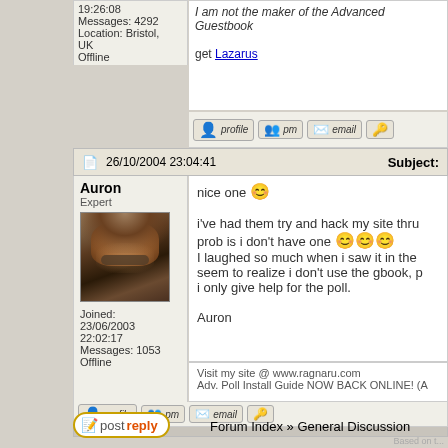19:26:08
Messages: 4292
Location: Bristol, UK
Offline
I am not the maker of the Advanced Guestbook
get Lazarus
[Figure (screenshot): Profile, PM, Email action buttons]
26/10/2004 23:04:41
Subject:
Auron
Expert
[Figure (photo): Avatar of Auron - fantasy character with wild hair and sunglasses]
Joined: 23/06/2003 22:02:17
Messages: 1053
Offline
nice one 😊

i've had them try and hack my site thru
prob is i don't have one 😊😊😊
I laughed so much when i saw it in the
seem to realize i don't use the gbook, p
i only give help for the poll.

Auron
Visit my site @ www.ragnaru.com
Adv. Poll Install Guide NOW BACK ONLINE! (A
[Figure (screenshot): Profile, PM, Email action buttons]
[Figure (screenshot): Post Reply button]
Forum Index » General Discussion